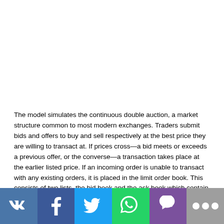The model simulates the continuous double auction, a market structure common to most modern exchanges. Traders submit bids and offers to buy and sell respectively at the best price they are willing to transact at. If prices cross—a bid meets or exceeds a previous offer, or the converse—a transaction takes place at the earlier listed price. If an incoming order is unable to transact with any existing orders, it is placed in the limit order book. This consists of two lists, the bid book and the ask book which contain the previously unfilled orders on the buy and sell side respectively.
At each time step in our model, a random order of unit size is generated. Orders have equal probability of being a buy or sell and are given a price drawn from a uniform probability distribution with limits 1 and 200. These
[Figure (other): Social media sharing bar with VK, Facebook, Twitter, WhatsApp, Viber, and more buttons]